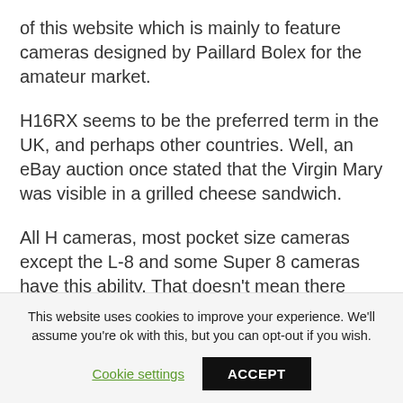of this website which is mainly to feature cameras designed by Paillard Bolex for the amateur market.
H16RX seems to be the preferred term in the UK, and perhaps other countries. Well, an eBay auction once stated that the Virgin Mary was visible in a grilled cheese sandwich.
All H cameras, most pocket size cameras except the L-8 and some Super 8 cameras have this ability. That doesn't mean there aren't certain items that are less common that others, or more
This website uses cookies to improve your experience. We'll assume you're ok with this, but you can opt-out if you wish.
Cookie settings    ACCEPT